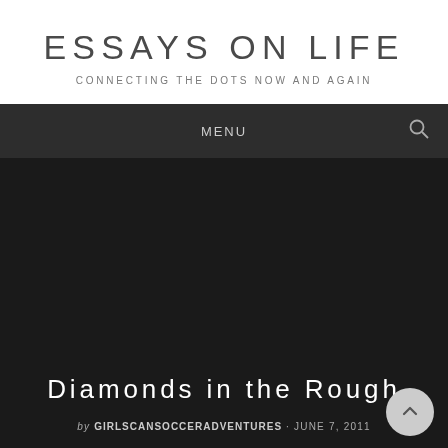ESSAYS ON LIFE
CONNECTING THE DOTS NOW AND AGAIN
MENU
Diamonds in the Rough
by GIRLSCANSOCCERADVENTURES · JUNE 7, 2011